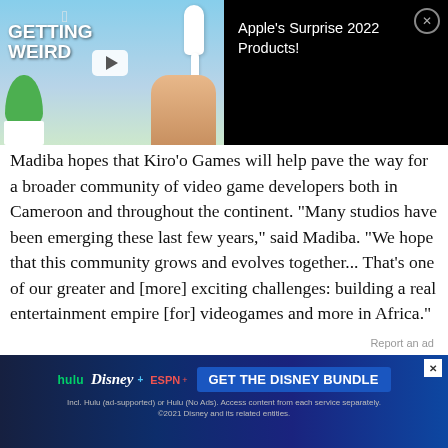[Figure (screenshot): Advertisement banner split into two halves: left side shows Apple 'Getting Weird' promotional image with AirPods and plant, right side shows black background with text 'Apple's Surprise 2022 Products!' and a close (X) button.]
Madiba hopes that Kiro'o Games will help pave the way for a broader community of video game developers both in Cameroon and throughout the continent. "Many studios have been emerging these last few years," said Madiba. "We hope that this community grows and evolves together... That's one of our greater and [more] exciting challenges: building a real entertainment empire [for] videogames and more in Africa."
[Figure (screenshot): Close X circle button on the right side, part of advertisement UI]
Report an ad
[Figure (screenshot): Disney Bundle advertisement banner showing Hulu, Disney+, and ESPN+ logos with a blue 'GET THE DISNEY BUNDLE' button and fine print text below.]